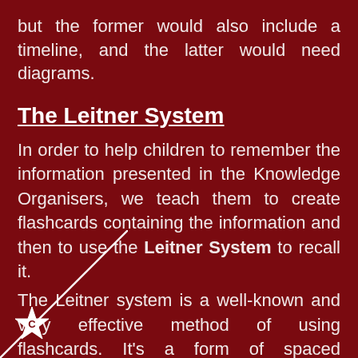but the former would also include a timeline, and the latter would need diagrams.
The Leitner System
In order to help children to remember the information presented in the Knowledge Organisers, we teach them to create flashcards containing the information and then to use the Leitner System to recall it.
The Leitner system is a well-known and very effective method of using flashcards. It's a form of spaced repetition that help you study the cards you don't know more often than the cards